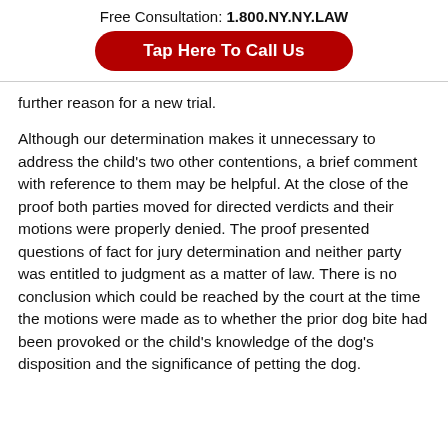Free Consultation: 1.800.NY.NY.LAW
[Figure (other): Red rounded rectangle button with white text: Tap Here To Call Us]
further reason for a new trial.
Although our determination makes it unnecessary to address the child's two other contentions, a brief comment with reference to them may be helpful. At the close of the proof both parties moved for directed verdicts and their motions were properly denied. The proof presented questions of fact for jury determination and neither party was entitled to judgment as a matter of law. There is no conclusion which could be reached by the court at the time the motions were made as to whether the prior dog bite had been provoked or the child's knowledge of the dog's disposition and the significance of petting the dog.